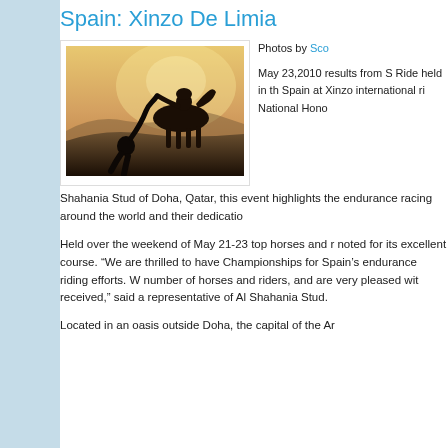Spain: Xinzo De Limia
[Figure (photo): Silhouette of a horse and rider at sunset, with another figure reaching up toward the rider from below, warm golden-orange hazy background with hills]
Photos by Sco
May 23,2010 results from S Ride held in th Spain at Xinzo international ri National Hono Shahania Stud of Doha, Qatar, this event highlights the endurance racing around the world and their dedicatio
Held over the weekend of May 21-23 top horses and r noted for its excellent course. "We are thrilled to have Championships for Spain's endurance riding efforts. W number of horses and riders, and are very pleased wit received," said a representative of Al Shahania Stud.
Located in an oasis outside Doha, the capital of the Ar